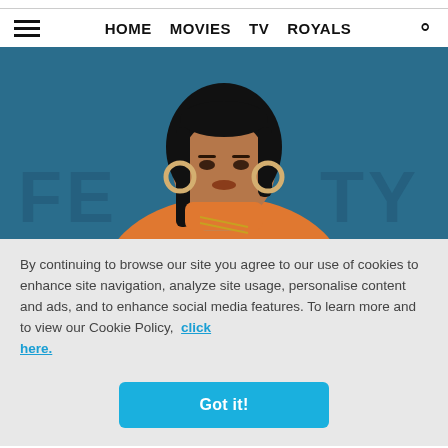HOME  MOVIES  TV  ROYALS
[Figure (photo): Woman in orange turtleneck sweater with hoop earrings and gold necklaces, standing in front of a blue FENTY branded backdrop]
By continuing to browse our site you agree to our use of cookies to enhance site navigation, analyze site usage, personalise content and ads, and to enhance social media features. To learn more and to view our Cookie Policy,  click here.
Got it!